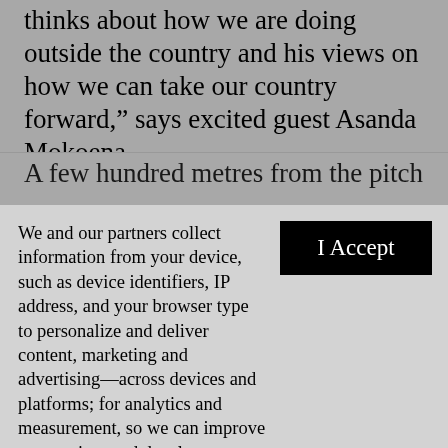thinks about how we are doing outside the country and his views on how we can take our country forward,” says excited guest Asanda Mokoena.
A few hundred metres from the pitch is a car park for
We and our partners collect information from your device, such as device identifiers, IP address, and your browser type to personalize and deliver content, marketing and advertising—across devices and platforms; for analytics and measurement, so we can improve our services and develop new ones; and for social features. By clicking “I accept”, you consent to our use of these Cookies. Visit our Privacy Policy to learn more.
YOUR USE OF THIS SITE SIGNIFIES YOUR AGREEMENT TO THIS PRIVACY POLICY.